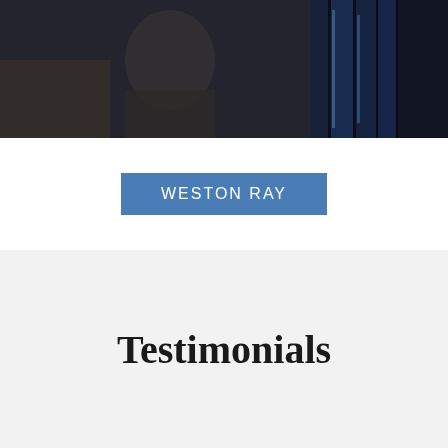[Figure (photo): Dark photograph showing a person with legal books or binders in the background, dimly lit]
WESTON RAY
Testimonials